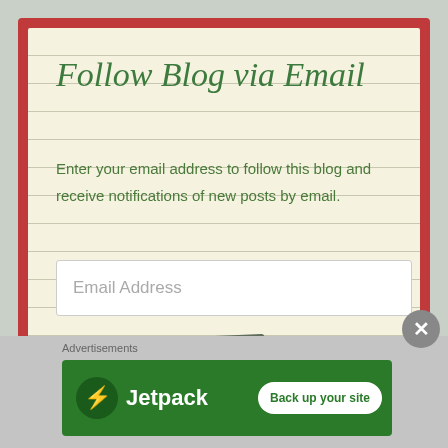Follow Blog via Email
Enter your email address to follow this blog and receive notifications of new posts by email.
[Figure (screenshot): Email address input field with placeholder text 'Email Address']
[Figure (screenshot): FOLLOW button, gray with letter-spaced text]
[Figure (screenshot): Close/X circular button]
Advertisements
[Figure (screenshot): Jetpack advertisement banner with logo and 'Back up your site' call-to-action button on green background]